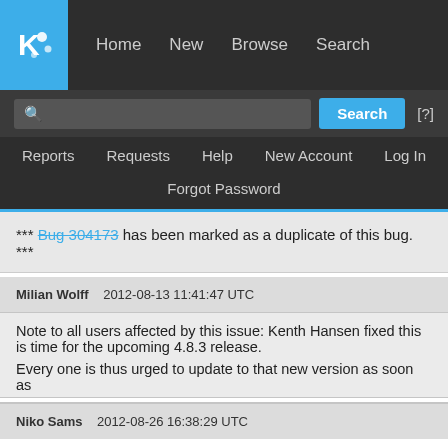[Figure (screenshot): KDE Bugtracker website header with logo, navigation links (Home, New, Browse, Search), search bar with Search button and [?] help link, secondary navigation (Reports, Requests, Help, New Account, Log In), and Forgot Password link]
*** Bug 304173 has been marked as a duplicate of this bug. ***
Milian Wolff    2012-08-13 11:41:47 UTC
Note to all users affected by this issue: Kenth Hansen fixed this is time for the upcoming 4.8.3 release.
Every one is thus urged to update to that new version as soon as
Niko Sams    2012-08-26 16:38:29 UTC